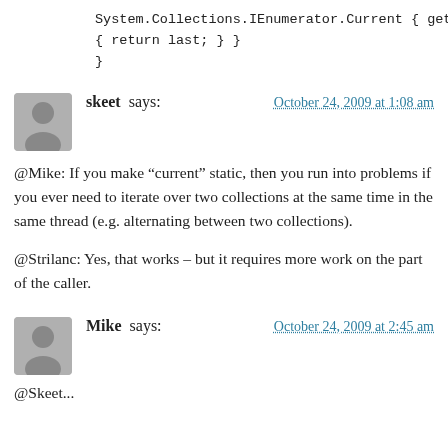System.Collections.IEnumerator.Current { get
{ return last; } }
}
skeet says: October 24, 2009 at 1:08 am
@Mike: If you make “current” static, then you run into problems if you ever need to iterate over two collections at the same time in the same thread (e.g. alternating between two collections).
@Strilanc: Yes, that works – but it requires more work on the part of the caller.
Mike says: October 24, 2009 at 2:45 am
@Skeet...